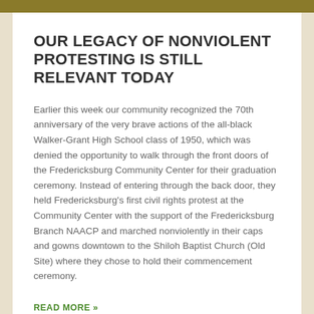OUR LEGACY OF NONVIOLENT PROTESTING IS STILL RELEVANT TODAY
Earlier this week our community recognized the 70th anniversary of the very brave actions of the all-black Walker-Grant High School class of 1950, which was denied the opportunity to walk through the front doors of the Fredericksburg Community Center for their graduation ceremony. Instead of entering through the back door, they held Fredericksburg's first civil rights protest at the Community Center with the support of the Fredericksburg Branch NAACP and marched nonviolently in their caps and gowns downtown to the Shiloh Baptist Church (Old Site) where they chose to hold their commencement ceremony.
READ MORE »